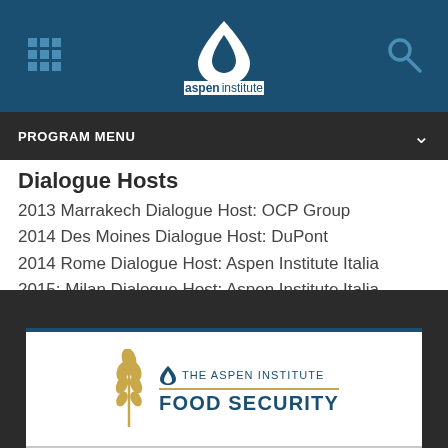[Figure (logo): Aspen Institute website header with grid menu icon on the left, Aspen Institute drop/leaf logo in the center, and search icon on the right, on a dark blue background]
PROGRAM MENU
Dialogue Hosts
2013 Marrakech Dialogue Host: OCP Group
2014 Des Moines Dialogue Host: DuPont
2014 Rome Dialogue Host: Aspen Institute Italia
2015: Milan Dialogue Host: Aspen Institute Italia
[Figure (logo): The Aspen Institute Food Security logo with wheat stalk icon on the left and text THE ASPEN INSTITUTE / FOOD SECURITY on a white background with dark blue border]